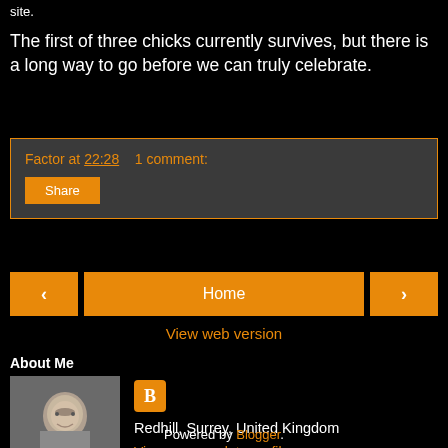site.
The first of three chicks currently survives, but there is a long way to go before we can truly celebrate.
Factor at 22:28    1 comment:
Share
‹
Home
›
View web version
About Me
[Figure (photo): Profile photo of a middle-aged man with gray hair]
Redhill, Surrey, United Kingdom
View my complete profile
Powered by Blogger.